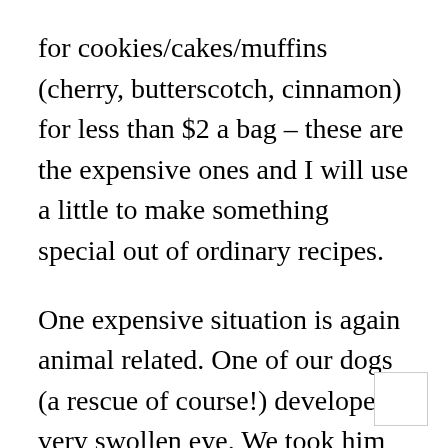for cookies/cakes/muffins (cherry, butterscotch, cinnamon) for less than $2 a bag – these are the expensive ones and I will use a little to make something special out of ordinary recipes.
One expensive situation is again animal related. One of our dogs (a rescue of course!) developed a very swollen eye. We took him to the vet and they were very concerned. Apparently eye problems in dogs can get serious right away – as in